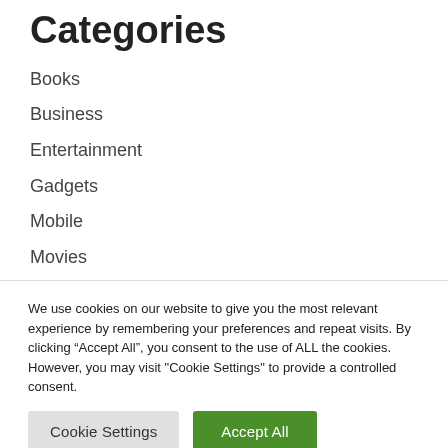Categories
Books
Business
Entertainment
Gadgets
Mobile
Movies
Music
Sports
We use cookies on our website to give you the most relevant experience by remembering your preferences and repeat visits. By clicking “Accept All”, you consent to the use of ALL the cookies. However, you may visit "Cookie Settings" to provide a controlled consent.
Cookie Settings
Accept All